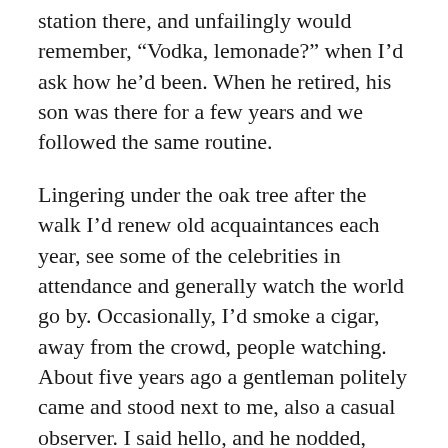station there, and unfailingly would remember, “Vodka, lemonade?” when I’d ask how he’d been. When he retired, his son was there for a few years and we followed the same routine.
Lingering under the oak tree after the walk I’d renew old acquaintances each year, see some of the celebrities in attendance and generally watch the world go by. Occasionally, I’d smoke a cigar, away from the crowd, people watching. About five years ago a gentleman politely came and stood next to me, also a casual observer. I said hello, and he nodded, eyeing my cigar. I asked if he’d like one, (don’t ever smoke in public without an extra in your pocket) and realized quickly we had a language barrier. Looking at his badge, he was a representative of the Argentina Golf Federation and was here as a guest of the tournament. Miguel spoke no English and I only have a version of ‘restaurant Spanish’ I can muster but